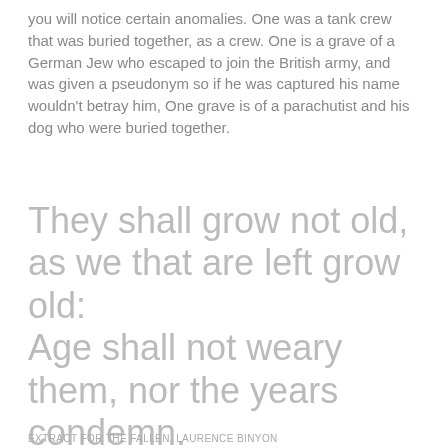you will notice certain anomalies. One was a tank crew that was buried together, as a crew. One is a grave of a German Jew who escaped to join the British army, and was given a pseudonym so if he was captured his name wouldn't betray him, One grave is of a parachutist and his dog who were buried together.
They shall grow not old, as we that are left grow old:
Age shall not weary them, nor the years condemn.
At the going down of the sun and in the morning
We will remember them.
EXTRACT FOR THE FALLEN, LAURENCE BINYON